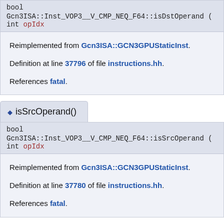bool
Gcn3ISA::Inst_VOP3__V_CMP_NEQ_F64::isDstOperand ( int opIdx
Reimplemented from Gcn3ISA::GCN3GPUStaticInst.
Definition at line 37796 of file instructions.hh.
References fatal.
◆ isSrcOperand()
bool
Gcn3ISA::Inst_VOP3__V_CMP_NEQ_F64::isSrcOperand ( int opIdx
Reimplemented from Gcn3ISA::GCN3GPUStaticInst.
Definition at line 37780 of file instructions.hh.
References fatal.